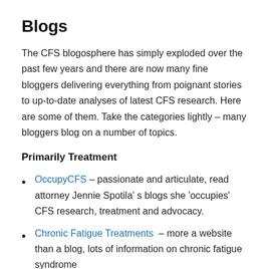Blogs
The CFS blogosphere has simply exploded over the past few years and there are now many fine bloggers delivering everything from poignant stories to up-to-date analyses of latest CFS research. Here are some of them. Take the categories lightly – many bloggers blog on a number of topics.
Primarily Treatment
OccupyCFS – passionate and articulate, read attorney Jennie Spotila' s blogs she 'occupies' CFS research, treatment and advocacy.
Chronic Fatigue Treatments – more a website than a blog, lots of information on chronic fatigue syndrome